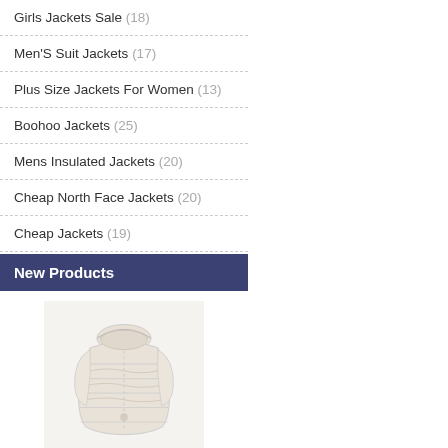Girls Jackets Sale (18)
Men'S Suit Jackets (17)
Plus Size Jackets For Women (13)
Boohoo Jackets (25)
Mens Insulated Jackets (20)
Cheap North Face Jackets (20)
Cheap Jackets (19)
New Products
[Figure (photo): Girls cream/beige quilted puffer coat with fur-trimmed hood]
next girls coats
£79.00  £46.00